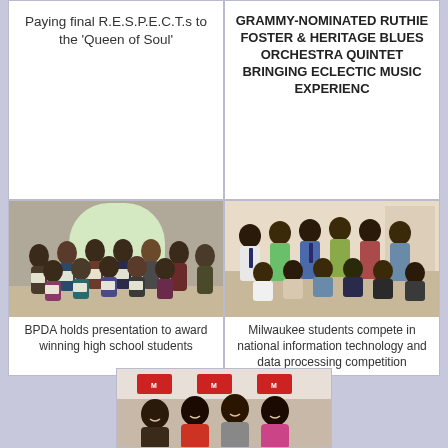Paying final R.E.S.P.E.C.T.s to the 'Queen of Soul'
GRAMMY-NOMINATED RUTHIE FOSTER & HERITAGE BLUES ORCHESTRA QUINTET BRINGING ECLECTIC MUSIC EXPERIENC
[Figure (photo): Group of students holding certificates at an awards presentation event]
BPDA holds presentation to award winning high school students
[Figure (photo): Group of Milwaukee students posing for a photo in what appears to be a school or office setting]
Milwaukee students compete in national information technology and data processing competition
[Figure (photo): Group of people posing at an event with branded banner in background]